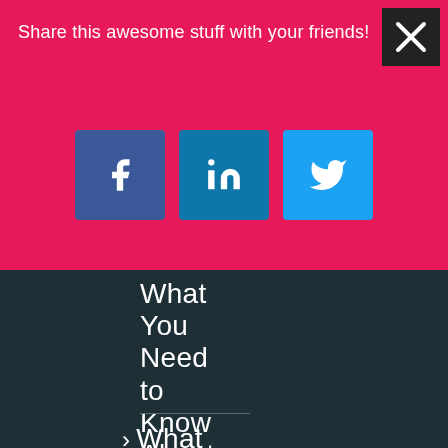Share this awesome stuff with your friends!
[Figure (screenshot): Social share buttons: Facebook (blue), LinkedIn (blue), Twitter (light blue)]
What You Need to Know About Pinterest Ads
> What Are The Important KPI's